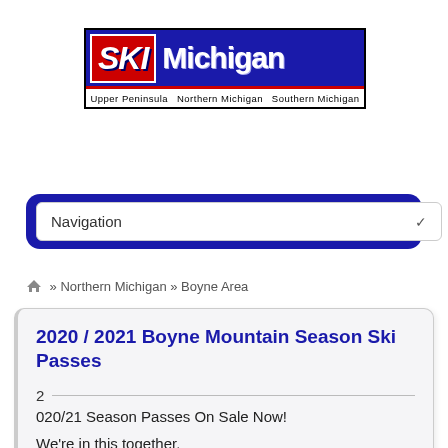[Figure (logo): Ski Michigan logo with blue background, red border for SKI text, and white Michigan text. Below: Upper Peninsula, Northern Michigan, Southern Michigan]
Navigation ▾
🏠 » Northern Michigan » Boyne Area
2020 / 2021 Boyne Mountain Season Ski Passes
2  020/21 Season Passes On Sale Now!
We're in this together.